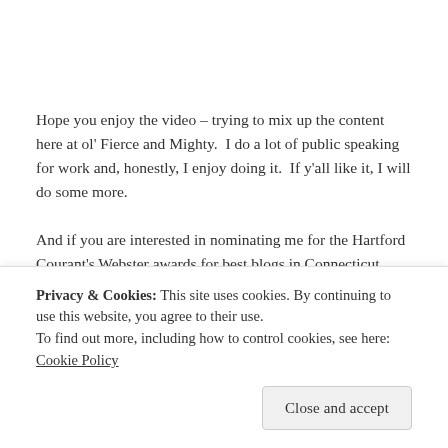Hope you enjoy the video – trying to mix up the content here at ol' Fierce and Mighty.  I do a lot of public speaking for work and, honestly, I enjoy doing it.  If y'all like it, I will do some more.
And if you are interested in nominating me for the Hartford Courant's Webster awards for best blogs in Connecticut, please do click here.  You don't need to be
Sunday: OFF
Privacy & Cookies: This site uses cookies. By continuing to use this website, you agree to their use.
To find out more, including how to control cookies, see here: Cookie Policy
Close and accept